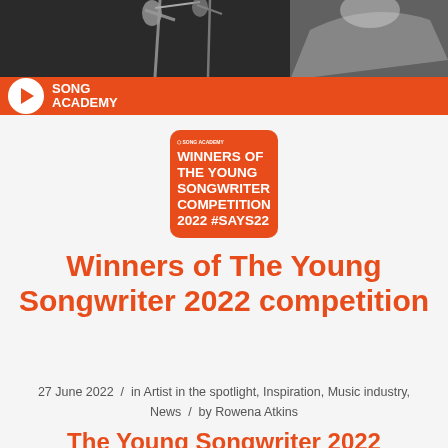[Figure (photo): Black and white photo of a microphone stand with a person in a white shirt, overlaid with Song Academy orange branding bar and play button logo at the bottom]
[Figure (illustration): Orange square thumbnail image with Song Academy logo at top and white bold text reading WINNERS OF THE YOUNG SONGWRITER COMPETITION 2022 #SAYS22]
Winners of The Young Songwriter 2022 competition
27 June 2022  /  in Artist in the spotlight, Inspiration, Music industry, News  /  by Rowena Atkins
The Young Songwriter 2022